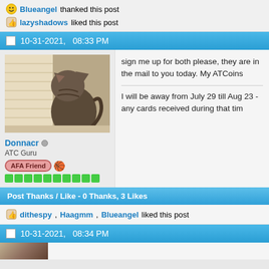Blueangel thanked this post
lazyshadows liked this post
10-31-2021,   08:33 PM
[Figure (photo): User avatar showing a cat sitting, viewed from behind/side]
Donnacr ◦ ATC Guru AFA Friend [rep dots]
sign me up for both please, they are in the mail to you today. My ATCoins
I will be away from July 29 till Aug 23 - any cards received during that tim
Post Thanks / Like - 0 Thanks, 3 Likes
dithespy, Haagmm, Blueangel liked this post
10-31-2021,   08:34 PM